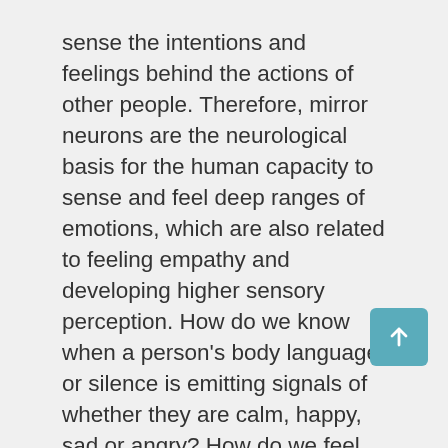sense the intentions and feelings behind the actions of other people. Therefore, mirror neurons are the neurological basis for the human capacity to sense and feel deep ranges of emotions, which are also related to feeling empathy and developing higher sensory perception. How do we know when a person's body language or silence is emitting signals of whether they are calm, happy, sad or angry? How do we feel good vibes or bad vibes when we are walking in a certain demographic location? Mirror neurons hold the sensory information from the consciousness memories that we have gathered and interpreted by continually observing people and things in our environment.
As we gain expanded consciousness through more